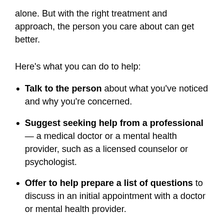alone. But with the right treatment and approach, the person you care about can get better.
Here's what you can do to help:
Talk to the person about what you've noticed and why you're concerned.
Suggest seeking help from a professional — a medical doctor or a mental health provider, such as a licensed counselor or psychologist.
Offer to help prepare a list of questions to discuss in an initial appointment with a doctor or mental health provider.
Express your willingness to help by setting